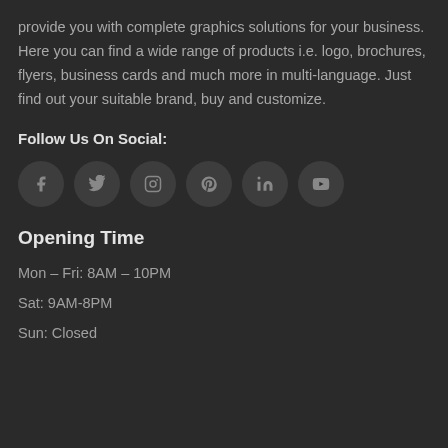provide you with complete graphics solutions for your business. Here you can find a wide range of products i.e. logo, brochures, flyers, business cards and much more in multi-language. Just find out your suitable brand, buy and customize.
Follow Us On Social:
[Figure (other): Row of 6 circular social media icons: Facebook, Twitter, Instagram, Pinterest, LinkedIn, YouTube]
Opening Time
Mon – Fri: 8AM – 10PM
Sat: 9AM-8PM
Sun: Closed